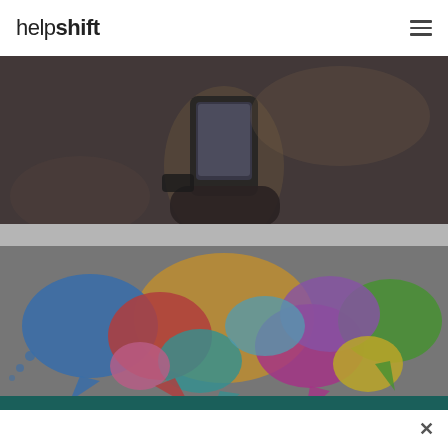helpshift
[Figure (photo): Close-up of a person's hand holding a smartphone, photographed in a dark indoor setting. The image has a dark, muted tone overlaid.]
[Figure (illustration): Colorful speech bubble illustration with many overlapping chat bubbles in various colors including blue, red, orange, yellow, green, purple, pink, and teal on a grey background.]
[CUSTOMER WEBINAR] Reducing Agent Burnout While Increasing CSAT Through AI-Driven Intent and Custom Bots with